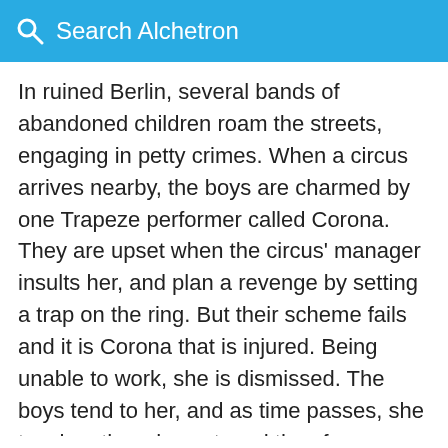Search Alchetron
In ruined Berlin, several bands of abandoned children roam the streets, engaging in petty crimes. When a circus arrives nearby, the boys are charmed by one Trapeze performer called Corona. They are upset when the circus' manager insults her, and plan a revenge by setting a trap on the ring. But their scheme fails and it is Corona that is injured. Being unable to work, she is dismissed. The boys tend to her, and as time passes, she teaches them her art, and they form a little circus of their own. A manager of another circus offers Corona a job. She is reluctant to leave the children. Eventually, the manager takes them all in circus.
Covid-19